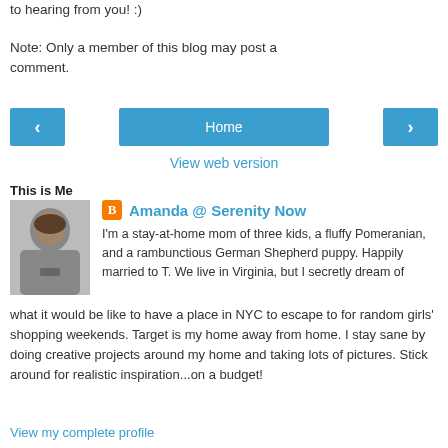to hearing from you! :)
Note: Only a member of this blog may post a comment.
Home
View web version
This is Me
Amanda @ Serenity Now
I'm a stay-at-home mom of three kids, a fluffy Pomeranian, and a rambunctious German Shepherd puppy. Happily married to T. We live in Virginia, but I secretly dream of what it would be like to have a place in NYC to escape to for random girls' shopping weekends. Target is my home away from home. I stay sane by doing creative projects around my home and taking lots of pictures. Stick around for realistic inspiration...on a budget!
View my complete profile